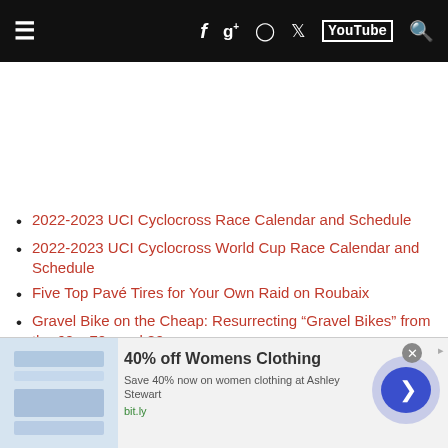Navigation bar with hamburger menu, Facebook, Google+, camera, Twitter, YouTube, search icons
2022-2023 UCI Cyclocross Race Calendar and Schedule
2022-2023 UCI Cyclocross World Cup Race Calendar and Schedule
Five Top Pavé Tires for Your Own Raid on Roubaix
Gravel Bike on the Cheap: Resurrecting “Gravel Bikes” from the 60s, 70s and 80s
DIY Tubeless Tire Inserts, What’s the Difference: Part 2
Ridden and Reviewed: Canyon Grail CF SLX 8.0 Di2 Gravel Bike
[Figure (screenshot): Advertisement banner: 40% off Womens Clothing, Save 40% now on women clothing at Ashley Stewart, bit.ly, with circular arrow button]